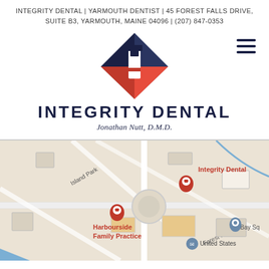INTEGRITY DENTAL | YARMOUTH DENTIST | 45 FOREST FALLS DRIVE, SUITE B3, YARMOUTH, MAINE 04096 | (207) 847-0353
[Figure (logo): Integrity Dental logo: diamond-shaped lighthouse icon with dark navy, red, and white colors, above the text INTEGRITY DENTAL and Jonathan Nutt, D.M.D.]
[Figure (map): Google Maps screenshot showing the area around Integrity Dental in Yarmouth, Maine. Pins show Integrity Dental and Harbourside Family Practice. Street labels visible include Island Park, Forest Falls, and Bay Square. United States postal icon visible.]
Contact